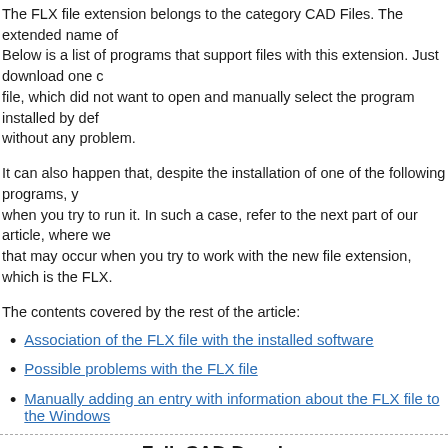The FLX file extension belongs to the category CAD Files. The extended name of Below is a list of programs that support files with this extension. Just download one file, which did not want to open and manually select the program installed by def without any problem.
It can also happen that, despite the installation of one of the following programs, y when you try to run it. In such a case, refer to the next part of our article, where we that may occur when you try to work with the new file extension, which is the FLX.
The contents covered by the rest of the article:
Association of the FLX file with the installed software
Possible problems with the FLX file
Manually adding an entry with information about the FLX file to the Windows
FelixCAD Drawing
| The full name of the file | Category |
| --- | --- |
| FelixCAD Drawing | CAD Files |
| Advertising | OS | Programs that |
| --- | --- | --- |